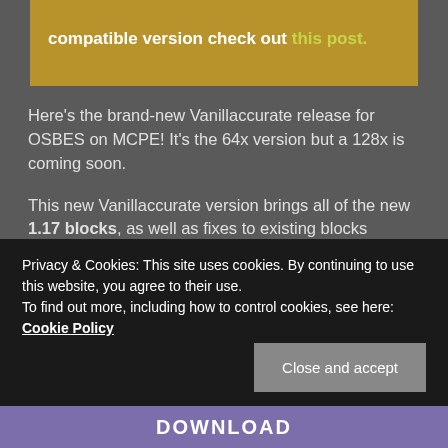compatible version check out this post.
Here's the brand-new Vanillaccurate release for OSBES on MCPE! It's the 64x version but a 128x is coming soon.
This new Vanillaccurate version brings all of the new 1.17 blocks, as well as fixes to existing blocks overall.
Privacy & Cookies: This site uses cookies. By continuing to use this website, you agree to their use.
To find out more, including how to control cookies, see here: Cookie Policy
Close and accept
DOWNLOAD